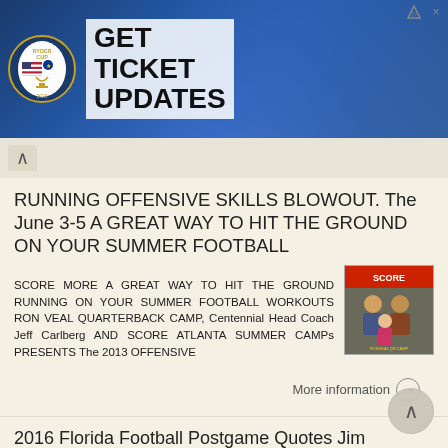[Figure (screenshot): Ryder Cup advertisement banner with logo and text GET TICKET UPDATES, with golf players in blue background]
RUNNING OFFENSIVE SKILLS BLOWOUT. The June 3-5 A GREAT WAY TO HIT THE GROUND ON YOUR SUMMER FOOTBALL
SCORE MORE A GREAT WAY TO HIT THE GROUND RUNNING ON YOUR SUMMER FOOTBALL WORKOUTS RON VEAL QUARTERBACK CAMP, Centennial Head Coach Jeff Carlberg AND SCORE ATLANTA SUMMER CAMPs PRESENTS The 2013 OFFENSIVE
More information →
2016 Florida Football Postgame Quotes Jim McElwain, Florida Head Coach Florida 24, Georgia 10 October 29, 2016